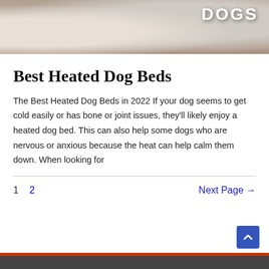[Figure (photo): Hero banner image showing a dog on what appears to be a bed or wooden surface, with 'DOGS' text overlay in white on the right side]
Best Heated Dog Beds
The Best Heated Dog Beds in 2022 If your dog seems to get cold easily or has bone or joint issues, they'll likely enjoy a heated dog bed. This can also help some dogs who are nervous or anxious because the heat can help calm them down. When looking for
1  2  Next Page →